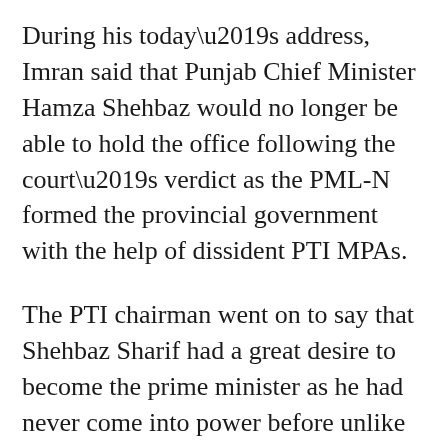During his today’s address, Imran said that Punjab Chief Minister Hamza Shehbaz would no longer be able to hold the office following the court’s verdict as the PML-N formed the provincial government with the help of dissident PTI MPAs.
The PTI chairman went on to say that Shehbaz Sharif had a great desire to become the prime minister as he had never come into power before unlike Nawaz Sharif.
“PML-N is facing criticism on all issues including inflation and devaluation of the ...